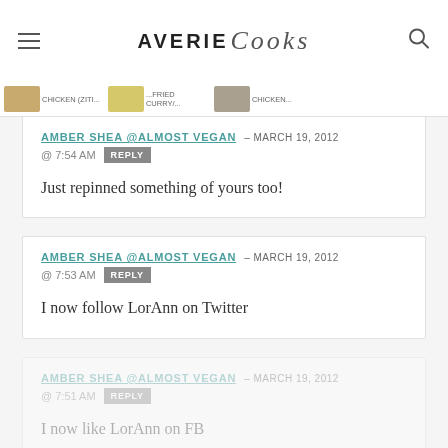AVERIE Cooks
AMBER SHEA @ALMOST VEGAN – MARCH 19, 2012 @ 7:54 AM REPLY
Just repinned something of yours too!
AMBER SHEA @ALMOST VEGAN – MARCH 19, 2012 @ 7:53 AM REPLY
I now follow LorAnn on Twitter
AMBER SHEA @ALMOST VEGAN – MARCH 19, 2012 @ 7:51 AM REPLY
I now like LorAnn on FB